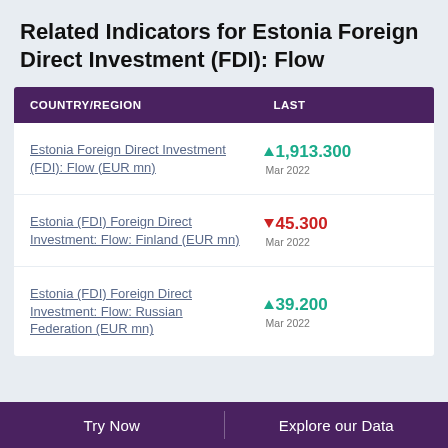Related Indicators for Estonia Foreign Direct Investment (FDI): Flow
| COUNTRY/REGION | LAST |
| --- | --- |
| Estonia Foreign Direct Investment (FDI): Flow (EUR mn) | ▲ 1,913.300
Mar 2022 |
| Estonia (FDI) Foreign Direct Investment: Flow: Finland (EUR mn) | ▼ 45.300
Mar 2022 |
| Estonia (FDI) Foreign Direct Investment: Flow: Russian Federation (EUR mn) | ▲ 39.200
Mar 2022 |
Try Now    Explore our Data